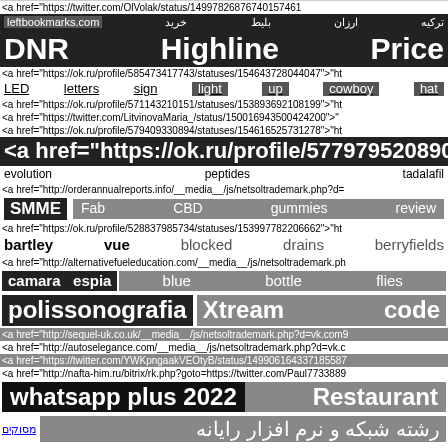<a href="https://twitter.com/OlVolak/status/14997826876740157461
تركيه  ارزان  بليط  خريد  leftbookmarks.com
DNR    Highline    Price
<a href="https://ok.ru/profile/585473417743/statuses/154643728044047">"ht
LED   letters   sign   light   up   cowboy   hat
<a href="https://ok.ru/profile/571143210151/statuses/153893692108199">"ht
<a href="https://twitter.com/LitvinovaMaria_/status/150016943500424200">"
<a href="https://ok.ru/profile/579409330894/statuses/154616525731278">"ht
<a href="https://ok.ru/profile/577979520890/statuses
evolution    peptides    tadalafil
<a href="http://orderannualreports.info/__media__/js/netsoltrademark.php?d=
SMME    Fab    CBD    gummies    review
<a href="https://ok.ru/profile/528837985734/statuses/153997782206662">"ht
bartley   vue   blocked   drains   berryfields
<a href="http://alternativefueleducation.com/__media__/js/netsoltrademark.ph
camara   espia   blue   bottle   flies
polissonografia   Xtream   code
<a href="http://sequel-uk.co.uk/__media__/js/netsoltrademark.php?d=vk.com9
<a href="http://autoselegance.com/__media__/js/netsoltrademark.php?d=vk.c
<a href="https://twitter.com/YWKpngaakVEOtyB/status/149906164337185587
<a href="http://nafta-him.ru/bitrix/rk.php?goto=https://twitter.com/Paul7733889
whatsapp plus 2022   Restaurant
رشته شبکه و نرم افزار رایانه    מסוקים